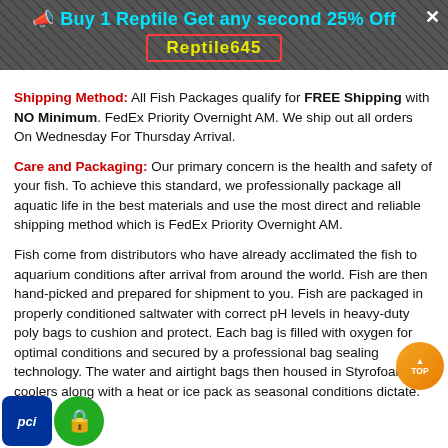📣 Buy 1 Reptile Get any second 25% Off  Reptile645
Shipping Method: All Fish Packages qualify for FREE Shipping with NO Minimum. FedEx Priority Overnight AM. We ship out all orders On Wednesday For Thursday Arrival.
Care and Packaging: Our primary concern is the health and safety of your fish. To achieve this standard, we professionally package all aquatic life in the best materials and use the most direct and reliable shipping method which is FedEx Priority Overnight AM.
Fish come from distributors who have already acclimated the fish to aquarium conditions after arrival from around the world. Fish are then hand-picked and prepared for shipment to you. Fish are packaged in properly conditioned saltwater with correct pH levels in heavy-duty poly bags to cushion and protect. Each bag is filled with oxygen for optimal conditions and secured by a professional bag sealing technology. The water and airtight bags then housed in Styrofoam coolers along with a heat or ice pack as seasonal conditions dictate.